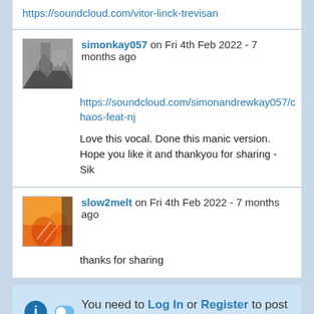https://soundcloud.com/vitor-linck-trevisan
simonkay057 on Fri 4th Feb 2022 - 7 months ago
https://soundcloud.com/simonandrewkay057/chaos-feat-nj
Love this vocal. Done this manic version. Hope you like it and thankyou for sharing - Sik
slow2melt on Fri 4th Feb 2022 - 7 months ago
thanks for sharing
You need to Log In or Register to post here.